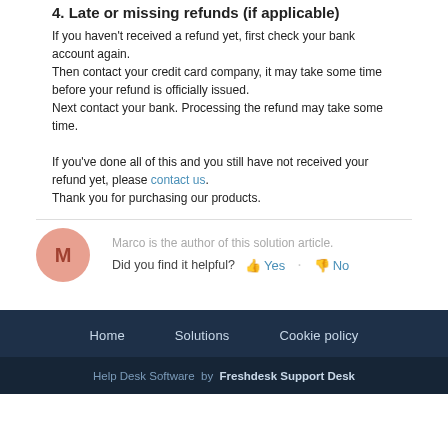4. Late or missing refunds (if applicable)
If you haven't received a refund yet, first check your bank account again.
Then contact your credit card company, it may take some time before your refund is officially issued.
Next contact your bank. Processing the refund may take some time.
If you've done all of this and you still have not received your refund yet, please contact us.
Thank you for purchasing our products.
Marco is the author of this solution article.
Did you find it helpful? Yes · No
Home   Solutions   Cookie policy
Help Desk Software by Freshdesk Support Desk